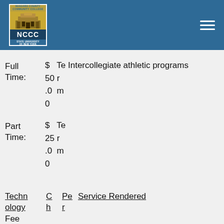[Figure (logo): NCCC (Niagara County Community College) logo with building graphic and SUNY affiliation]
Full Time: $ 50.0 0   Te r m
Intercollegiate athletic programs
Part Time: $ 25.0 0   Te r m
| Technology | Ch | Per | Service Rendered |
| --- | --- | --- | --- |